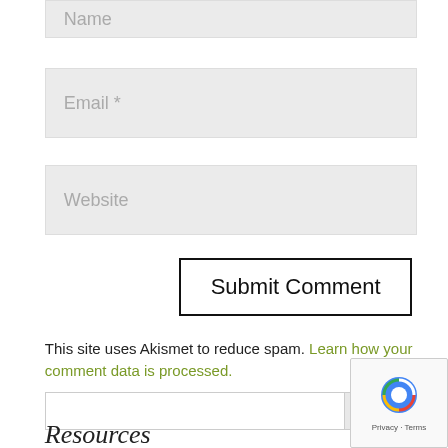[Figure (screenshot): Text input field with placeholder 'Name' on gray background]
[Figure (screenshot): Text input field with placeholder 'Email *' on gray background]
[Figure (screenshot): Text input field with placeholder 'Website' on gray background]
[Figure (screenshot): Submit Comment button with black border]
This site uses Akismet to reduce spam. Learn how your comment data is processed.
[Figure (screenshot): Search input box with Search button]
Resources
[Figure (screenshot): reCAPTCHA badge with Privacy and Terms links]